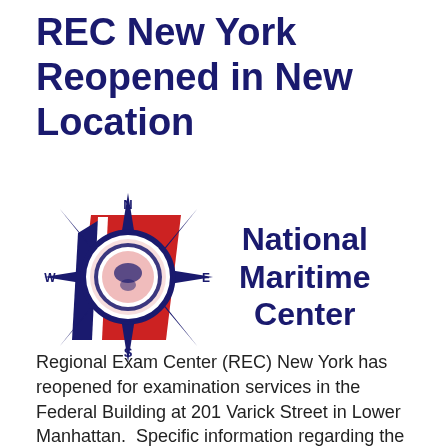REC New York Reopened in New Location
[Figure (logo): National Maritime Center logo: compass rose with N/S/E/W labels, red parallelogram, US Coast Guard seal in center, navy and red coloring]
Regional Exam Center (REC) New York has reopened for examination services in the Federal Building at 201 Varick Street in Lower Manhattan.  Specific information regarding the REC's physical address, hours of operation, and entry requirements can be found on the REC New York homepage.